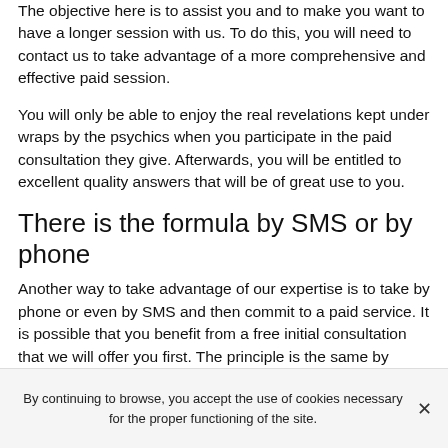The objective here is to assist you and to make you want to have a longer session with us. To do this, you will need to contact us to take advantage of a more comprehensive and effective paid session.
You will only be able to enjoy the real revelations kept under wraps by the psychics when you participate in the paid consultation they give. Afterwards, you will be entitled to excellent quality answers that will be of great use to you.
There is the formula by SMS or by phone
Another way to take advantage of our expertise is to take by phone or even by SMS and then commit to a paid service. It is possible that you benefit from a free initial consultation that we will offer you first. The principle is the same by email with the difference:
By continuing to browse, you accept the use of cookies necessary for the proper functioning of the site.